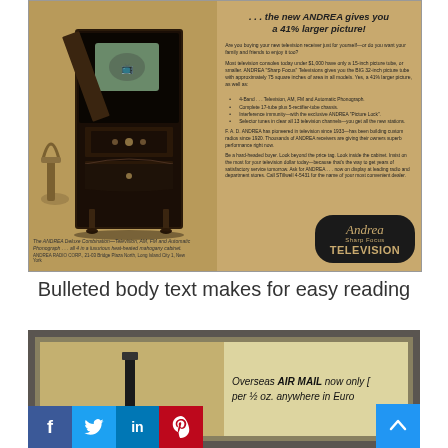[Figure (illustration): Vintage Andrea Radio Corp television advertisement showing a large wooden cabinet television set with doors open, in a living room setting. Right side contains headline '...the new ANDREA gives you a 41% larger picture!' with body text, bullet points, and Andrea Sharp Focus Television logo.]
Bulleted body text makes for easy reading
[Figure (photo): Vintage advertisement partially visible showing text 'Overseas AIR MAIL now only [rate] per 1/2 oz. anywhere in Euro[pe]' with social media sharing buttons (Facebook, Twitter, LinkedIn, Pinterest) overlaid at bottom and a blue scroll-to-top button.]